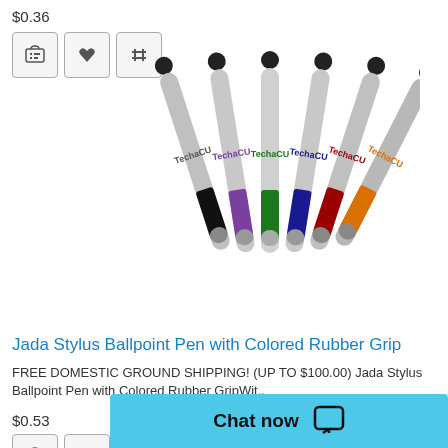$0.36
[Figure (photo): Six Jada Stylus Ballpoint Pens with colored rubber grips: black, purple, green, navy, red, orange. Silver barrels with TechaCU branding printed on them. Stylus tips at the top.]
Jada Stylus Ballpoint Pen with Colored Rubber Grip
FREE DOMESTIC GROUND SHIPPING! (UP TO $100.00) Jada Stylus Ballpoint Pen with Colored Rubber GripWit..
$0.53
[Figure (photo): Row of stylus ballpoint pens in multiple colors partially visible at bottom of page.]
Chat now